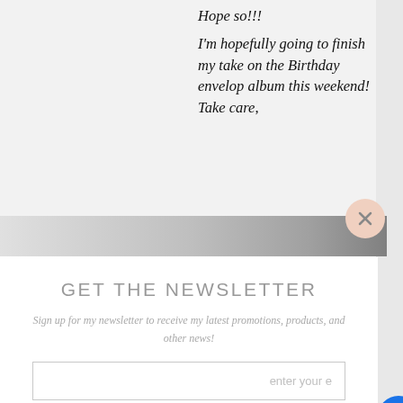Hope so!!!
I'm hopefully going to finish my take on the Birthday envelop album this weekend! Take care,
GET THE NEWSLETTER
Sign up for my newsletter to receive my latest promotions, products, and other news!
enter your e
sign up